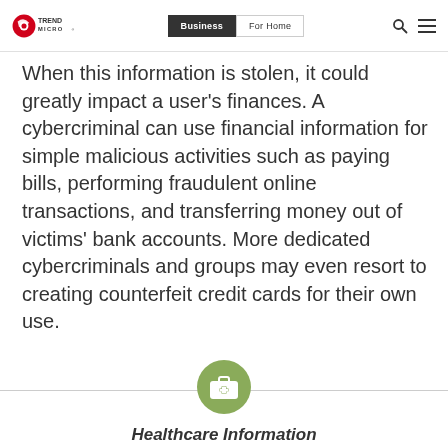Trend Micro | Business | For Home
When this information is stolen, it could greatly impact a user's finances. A cybercriminal can use financial information for simple malicious activities such as paying bills, performing fraudulent online transactions, and transferring money out of victims' bank accounts. More dedicated cybercriminals and groups may even resort to creating counterfeit credit cards for their own use.
[Figure (illustration): Green circle icon with a medical/first-aid briefcase symbol, centered on a horizontal divider line]
Healthcare Information